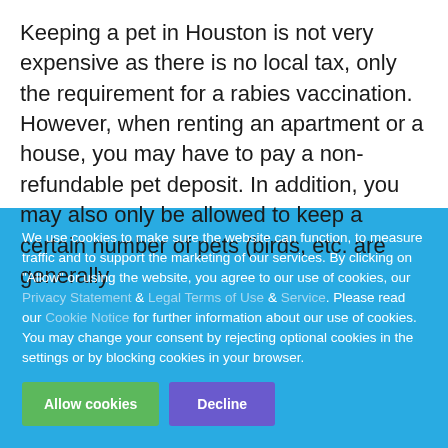Keeping a pet in Houston is not very expensive as there is no local tax, only the requirement for a rabies vaccination. However, when renting an apartment or a house, you may have to pay a non-refundable pet deposit. In addition, you may also only be allowed to keep a certain number of pets (birds, etc. are generally
We use cookies to make sure the website can function, to measure traffic and to support the marketing of our services. By clicking on "Allow" or using the website, you agree to our use of cookies, our Privacy Statement & Legal Terms of Use & Service. Please read our Cookie Notice for further information about our use of cookies. You may change your consent by rejecting optional cookies in the settings or by blocking cookies in your browser.